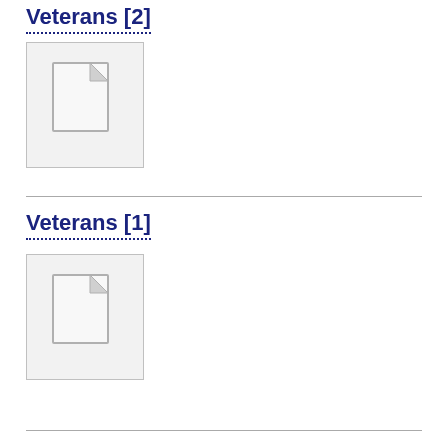Veterans [2]
[Figure (illustration): Document/file placeholder icon with folded top-right corner, gray outline, light background]
Veterans [1]
[Figure (illustration): Document/file placeholder icon with folded top-right corner, gray outline, light background]